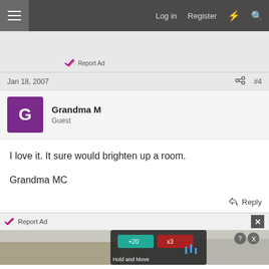Log in  Register
Report Ad
Jan 18, 2007  #4
Grandma M
Guest
I love it. It sure would brighten up a room.

Grandma MC
Reply
Report Ad